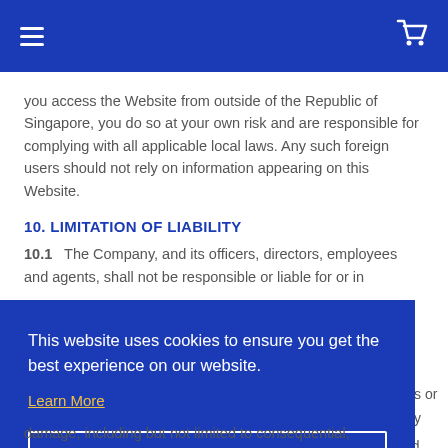Navigation bar with hamburger menu and cart icon
you access the Website from outside of the Republic of Singapore, you do so at your own risk and are responsible for complying with all applicable local laws. Any such foreign users should not rely on information appearing on this Website.
10. LIMITATION OF LIABILITY
10.1   The Company, and its officers, directors, employees and agents, shall not be responsible or liable for or in
[Figure (screenshot): Cookie consent banner overlay in blue with text 'This website uses cookies to ensure you get the best experience on our website.' with Learn More link and Got it! button]
damage, including but not limited to consequential,